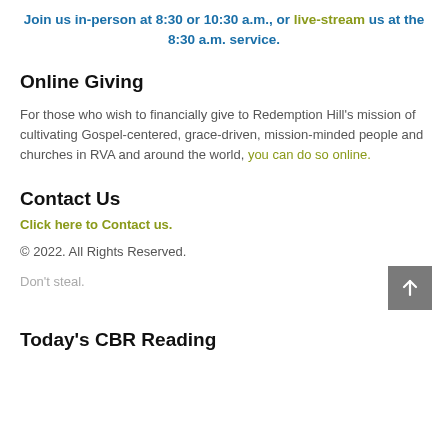Join us in-person at 8:30 or 10:30 a.m., or live-stream us at the 8:30 a.m. service.
Online Giving
For those who wish to financially give to Redemption Hill's mission of cultivating Gospel-centered, grace-driven, mission-minded people and churches in RVA and around the world, you can do so online.
Contact Us
Click here to Contact us.
© 2022. All Rights Reserved.
Don't steal.
Today's CBR Reading